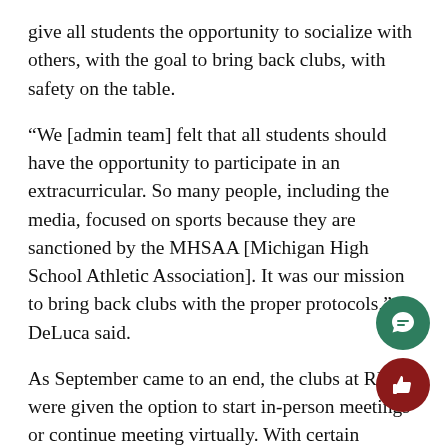give all students the opportunity to socialize with others, with the goal to bring back clubs, with safety on the table.
“We [admin team] felt that all students should have the opportunity to participate in an extracurricular. So many people, including the media, focused on sports because they are sanctioned by the MHSAA [Michigan High School Athletic Association]. It was our mission to bring back clubs with the proper protocols,” DeLuca said.
As September came to an end, the clubs at RHS were given the option to start in-person meetings or continue meeting virtually. With certain restrictions, some clubs already took advantage of meeting in person, like the Rochester Alliance and Theatrical Students. Key Club and National English Honors Society are continuing with virtual meetings until things calm down with the transition to the hybrid model.
“Every club is different so students should check with the